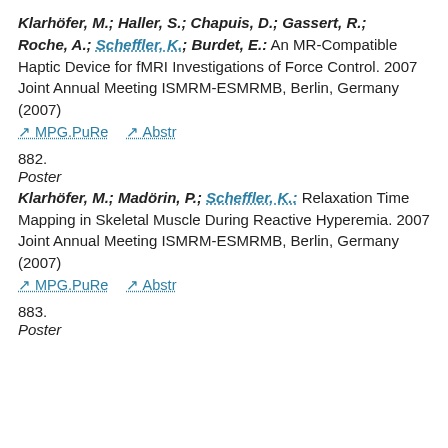Klarhöfer, M.; Haller, S.; Chapuis, D.; Gassert, R.; Roche, A.; Scheffler, K.; Burdet, E.: An MR-Compatible Haptic Device for fMRI Investigations of Force Control. 2007 Joint Annual Meeting ISMRM-ESMRMB, Berlin, Germany (2007)
MPG.PuRe   Abstr
882.
Poster
Klarhöfer, M.; Madörin, P.; Scheffler, K.: Relaxation Time Mapping in Skeletal Muscle During Reactive Hyperemia. 2007 Joint Annual Meeting ISMRM-ESMRMB, Berlin, Germany (2007)
MPG.PuRe   Abstr
883.
Poster